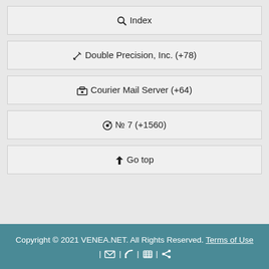🔍 Index
✏ Double Precision, Inc. (+78)
💼 Courier Mail Server (+64)
⚙ № 7 (+1560)
↑ Go top
Copyright © 2021 VENEA.NET. All Rights Reserved. Terms of Use | ✉ | RSS | ▦ | ⋗